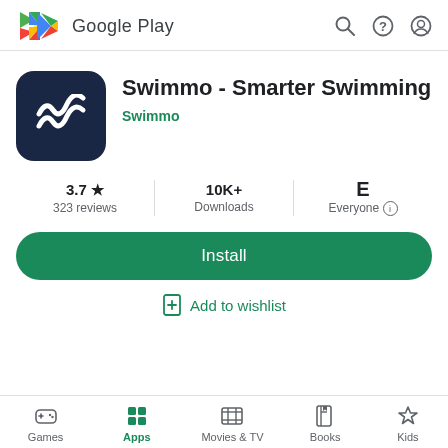[Figure (logo): Google Play header with logo and navigation icons (search, help, account)]
[Figure (logo): Swimmo app icon: dark navy rounded square with white wave/S symbol]
Swimmo - Smarter Swimming
Swimmo
3.7★ 323 reviews | 10K+ Downloads | E Everyone
Install
Add to wishlist
Games | Apps | Movies & TV | Books | Kids